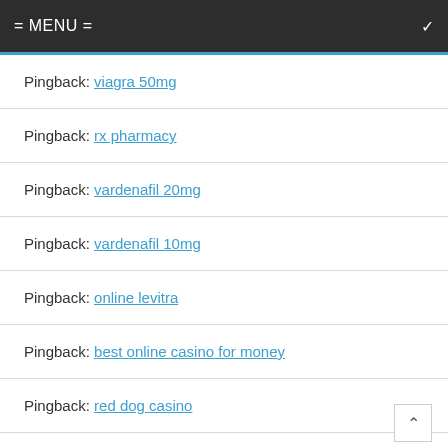= MENU =
Pingback: viagra 50mg
Pingback: rx pharmacy
Pingback: vardenafil 20mg
Pingback: vardenafil 10mg
Pingback: online levitra
Pingback: best online casino for money
Pingback: red dog casino
Pingback: sildenafil 100mg